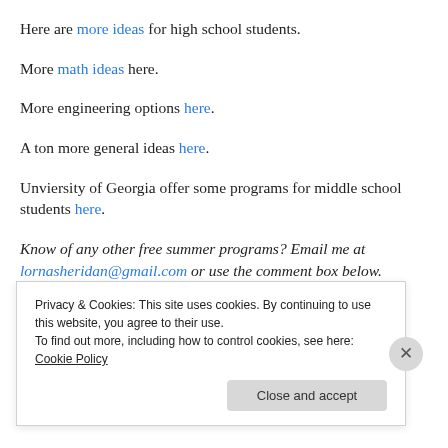Here are more ideas for high school students.
More math ideas here.
More engineering options here.
A ton more general ideas here.
Unviersity of Georgia offer some programs for middle school students here.
Know of any other free summer programs? Email me at lornasheridan@gmail.com or use the comment box below.
Privacy & Cookies: This site uses cookies. By continuing to use this website, you agree to their use. To find out more, including how to control cookies, see here: Cookie Policy